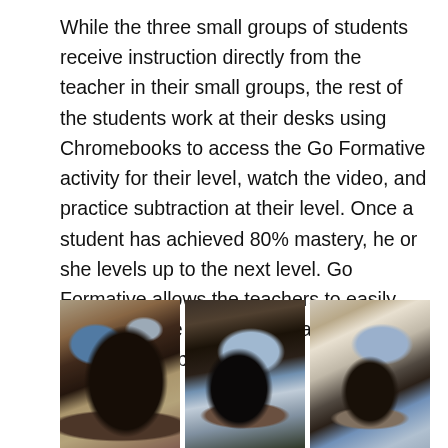While the three small groups of students receive instruction directly from the teacher in their small groups, the rest of the students work at their desks using Chromebooks to access the Go Formative activity for their level, watch the video, and practice subtraction at their level. Once a student has achieved 80% mastery, he or she levels up to the next level. Go Formative allows the teachers to easily see where the students are at in their mastery of subtraction.
[Figure (photo): Three side-by-side classroom photos showing students sitting at desks working on Chromebook laptops, viewed from behind.]